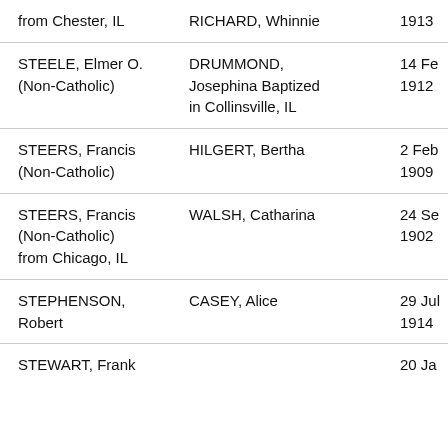| Groom | Bride | Date |
| --- | --- | --- |
| from Chester, IL | RICHARD, Whinnie | 1913 |
| STEELE, Elmer O. (Non-Catholic) | DRUMMOND, Josephina Baptized in Collinsville, IL | 14 Fe 1912 |
| STEERS, Francis (Non-Catholic) | HILGERT, Bertha | 2 Feb 1909 |
| STEERS, Francis (Non-Catholic) from Chicago, IL | WALSH, Catharina | 24 Se 1902 |
| STEPHENSON, Robert | CASEY, Alice | 29 Jul 1914 |
| STEWART, Frank |  | 20 Ja |